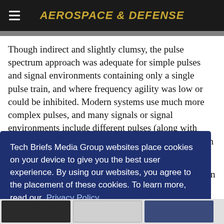AEROSPACE & DEFENSE
Though indirect and slightly clumsy, the pulse spectrum approach was adequate for simple pulses and signal environments containing only a single pulse train, and where frequency agility was low or could be inhibited. Modern systems use much more complex pulses, and many signals or signal environments include different pulses (along with other signals) from one or multiple emitters, as shown in the real-time spectrum measurement of ... d ... s must ... ques on
Tech Briefs Media Group websites place cookies on your device to give you the best user experience. By using our websites, you agree to the placement of these cookies. To learn more, read our Privacy Policy.
Accept & Continue